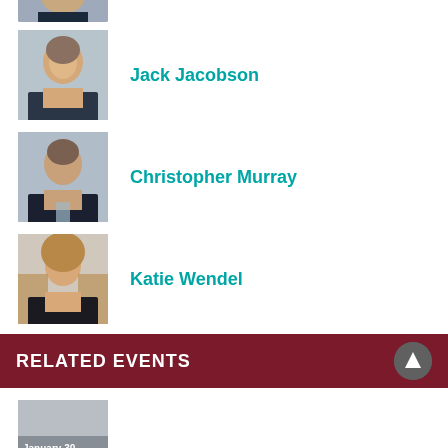[Figure (photo): Partial headshot photo at top of page (person partially visible)]
[Figure (photo): Headshot photo of Jack Jacobson]
Jack Jacobson
[Figure (photo): Headshot photo of Christopher Murray]
Christopher Murray
[Figure (photo): Headshot photo of Katie Wendel]
Katie Wendel
RELATED EVENTS
[Figure (photo): Partial preview image at bottom of page with partial text 'January 30']